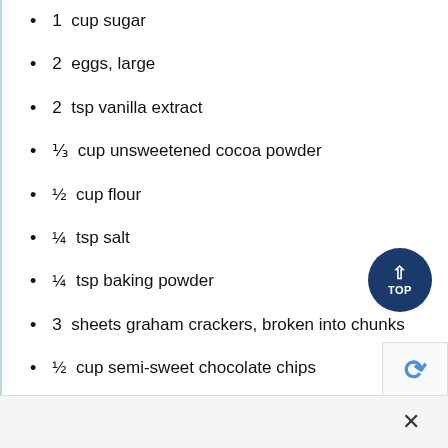1  cup sugar
2  eggs, large
2  tsp vanilla extract
⅓  cup unsweetened cocoa powder
½  cup flour
¼  tsp salt
¼  tsp baking powder
3  sheets graham crackers, broken into chunks
½  cup semi-sweet chocolate chips
½  cup cereal marshmallows
×